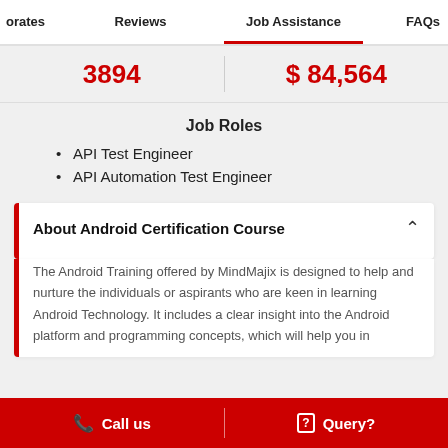oporates   Reviews   Job Assistance   FAQs
3894   $ 84,564
Job Roles
API Test Engineer
API Automation Test Engineer
About Android Certification Course
The Android Training offered by MindMajix is designed to help and nurture the individuals or aspirants who are keen in learning Android Technology. It includes a clear insight into the Android platform and programming concepts, which will help you in
Call us   Query?